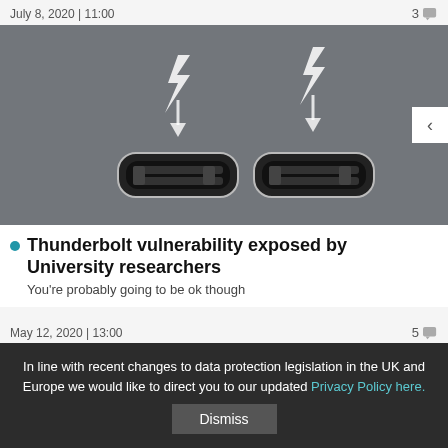July 8, 2020 | 11:00   3
[Figure (photo): Close-up photo of a laptop or device edge showing two Thunderbolt/USB-C ports with lightning bolt icons above each port, on a silver metallic surface. A navigation arrow button is visible on the right side.]
Thunderbolt vulnerability exposed by University researchers
You're probably going to be ok though
May 12, 2020 | 13:00   5
In line with recent changes to data protection legislation in the UK and Europe we would like to direct you to our updated Privacy Policy here.
Dismiss